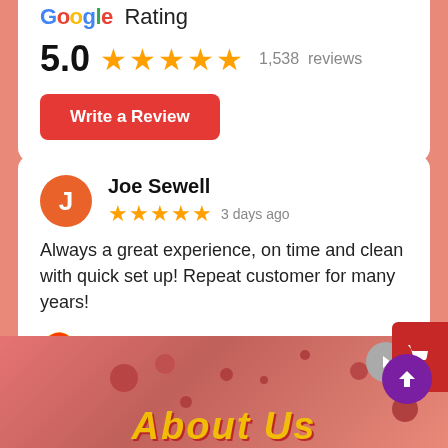[Figure (screenshot): Google Rating section showing 5.0 stars and 1,538 reviews with a Write a Review button]
[Figure (screenshot): Google review card from Joe Sewell, 5 stars, 3 days ago, text: Always a great experience, on time and clean with quick set up! Repeat customer for many years! Posted on Google]
[Figure (screenshot): Bottom pink banner section partially visible]